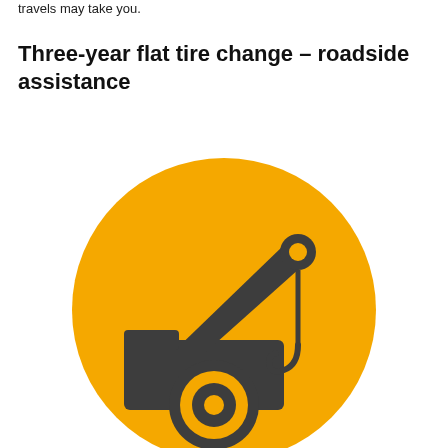travels may take you.
Three-year flat tire change – roadside assistance
[Figure (illustration): Orange circle icon with a dark grey tow truck silhouette, featuring a crane arm with a hook at the top right, a truck body at the bottom left, and a wheel with concentric circles at the bottom center.]